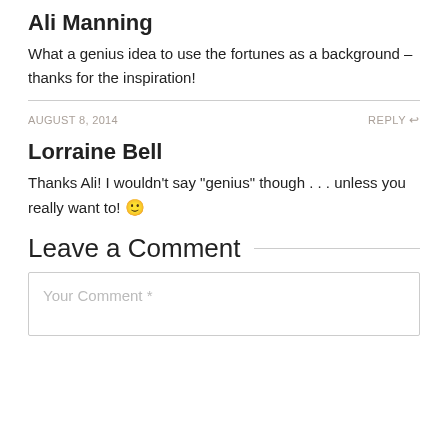Ali Manning
What a genius idea to use the fortunes as a background – thanks for the inspiration!
AUGUST 8, 2014
REPLY
Lorraine Bell
Thanks Ali! I wouldn't say "genius" though . . . unless you really want to! 🙂
Leave a Comment
Your Comment *